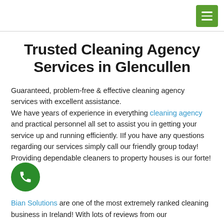[menu button]
Trusted Cleaning Agency Services in Glencullen
Guaranteed, problem-free & effective cleaning agency services with excellent assistance.
We have years of experience in everything cleaning agency and practical personnel all set to assist you in getting your service up and running efficiently. IIf you have any questions regarding our services simply call our friendly group today! Providing dependable cleaners to property houses is our forte!
Bian Solutions are one of the most extremely ranked cleaning business in Ireland! With lots of reviews from our